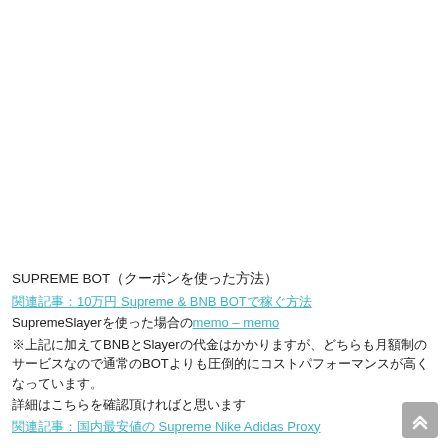SUPREME BOT（クーポンを使った方法）
関連記事：10万円 Supreme & BNB BOTで稼ぐ方法
SupremeSlayerを使った場合のmemo – memo
※上記に加えてBNBとSlayerの代金はかかりますが、どちらも月額制のサービスなので通常のBOTよりも圧倒的にコストパフォーマンスが高くなっています。
詳細はこちらを確認頂ければと思います
関連記事：国内最安値の Supreme Nike Adidas Proxy